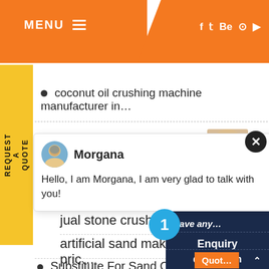MENU ≡  f  t  Be  ⊙  ▶
coconut oil crushing machine manufacturer in…
[Figure (screenshot): Chat popup from Morgana: Hello, I am Morgana, I am very glad to talk with you!]
jual stone crusher china surabaya
artificial sand making machine pric…
Substitute For Sand Crushed Sand…
Have any… click here.
Quot…
Enquiry
drobilkalm